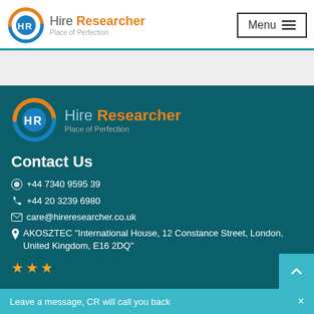[Figure (logo): Hire Researcher logo with circular HR icon - blue and orange colors, text reading 'Hire Researcher Place of Perfection']
Menu ☰
[Figure (logo): Hire Researcher footer logo with circular HR icon - blue and orange colors, text reading 'Hire Researcher Place of Perfection']
Contact Us
+44 7340 9595 39
+44 20 3239 6980
care@hireresearcher.co.uk
AKOSZTEC "International House, 12 Constance Street, London, United Kingdom, E16 2DQ"
Leave a message, CR will call you back  ×